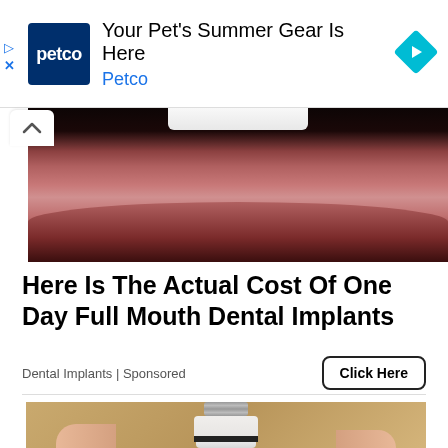[Figure (screenshot): Petco advertisement banner with Petco logo (blue square with white text), headline 'Your Pet's Summer Gear Is Here', subheading 'Petco', and a blue diamond arrow icon on the right. Includes a play button and X button on the left side.]
[Figure (photo): Close-up photo of a person's mouth and lower face showing teeth and lips with stubble, cropped to show dental area]
Here Is The Actual Cost Of One Day Full Mouth Dental Implants
Dental Implants | Sponsored
[Figure (photo): Photo of a hand holding a white smart light bulb device with a black band and camera, with a metallic screw base at top, against a beige/tan background]